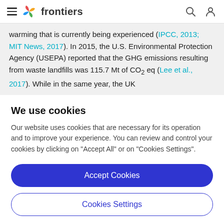frontiers
warming that is currently being experienced (IPCC, 2013; MIT News, 2017). In 2015, the U.S. Environmental Protection Agency (USEPA) reported that the GHG emissions resulting from waste landfills was 115.7 Mt of CO₂ eq (Lee et al., 2017). While in the same year, the UK
We use cookies
Our website uses cookies that are necessary for its operation and to improve your experience. You can review and control your cookies by clicking on "Accept All" or on "Cookies Settings".
Accept Cookies
Cookies Settings